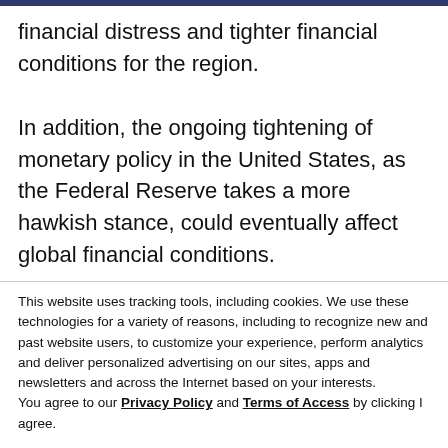financial distress and tighter financial conditions for the region.
In addition, the ongoing tightening of monetary policy in the United States, as the Federal Reserve takes a more hawkish stance, could eventually affect global financial conditions.
This website uses tracking tools, including cookies. We use these technologies for a variety of reasons, including to recognize new and past website users, to customize your experience, perform analytics and deliver personalized advertising on our sites, apps and newsletters and across the Internet based on your interests. You agree to our Privacy Policy and Terms of Access by clicking I agree.
Cookie settings
ACCEPT